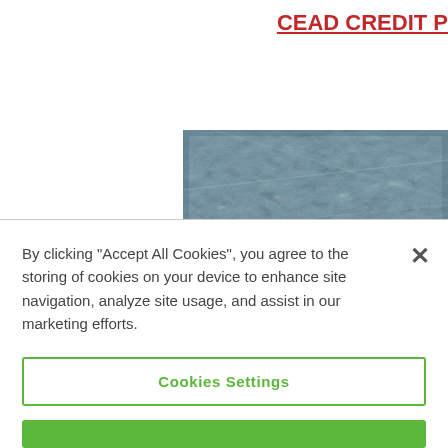CEAD CREDIT P
[Figure (photo): Close-up photo of a textured blue-grey surface, possibly fabric or material with visible grain/weave pattern]
By clicking “Accept All Cookies”, you agree to the storing of cookies on your device to enhance site navigation, analyze site usage, and assist in our marketing efforts.
Cookies Settings
Accept